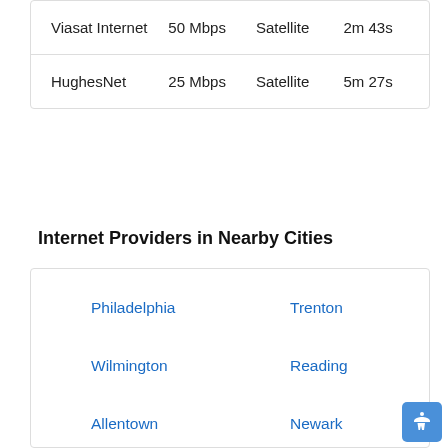| Provider | Speed | Type | Load Time |
| --- | --- | --- | --- |
| Viasat Internet | 50 Mbps | Satellite | 2m 43s |
| HughesNet | 25 Mbps | Satellite | 5m 27s |
Internet Providers in Nearby Cities
Philadelphia
Trenton
Wilmington
Reading
Allentown
Newark